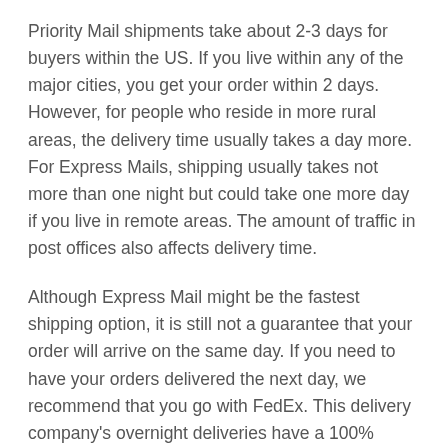Priority Mail shipments take about 2-3 days for buyers within the US. If you live within any of the major cities, you get your order within 2 days. However, for people who reside in more rural areas, the delivery time usually takes a day more. For Express Mails, shipping usually takes not more than one night but could take one more day if you live in remote areas. The amount of traffic in post offices also affects delivery time.
Although Express Mail might be the fastest shipping option, it is still not a guarantee that your order will arrive on the same day. If you need to have your orders delivered the next day, we recommend that you go with FedEx. This delivery company's overnight deliveries have a 100% guarantee of arriving the next day. You can choose any of their two-night options (standard overnight and priority overnight).
Packages shipped using priority overnight are expected to